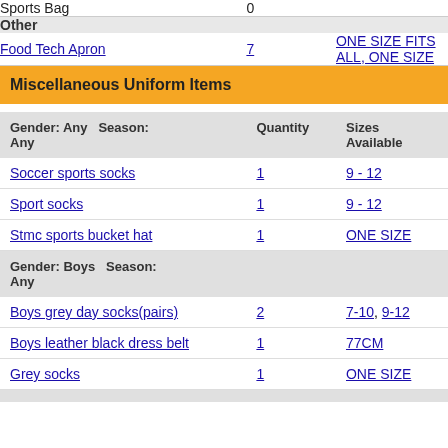| Item | Quantity | Sizes Available |
| --- | --- | --- |
| Sports Bag | 0 |  |
| Other |  |  |
| Food Tech Apron | 7 | ONE SIZE FITS ALL, ONE SIZE |
Miscellaneous Uniform Items
| Gender: Any Any / Season: Any | Quantity | Sizes Available |
| --- | --- | --- |
| Soccer sports socks | 1 | 9 - 12 |
| Sport socks | 1 | 9 - 12 |
| Stmc sports bucket hat | 1 | ONE SIZE |
| Gender: Boys Any / Season: Any |  |  |
| Boys grey day socks(pairs) | 2 | 7-10, 9-12 |
| Boys leather black dress belt | 1 | 77CM |
| Grey socks | 1 | ONE SIZE |